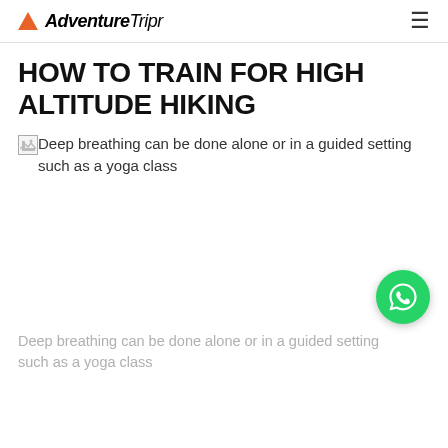AdventureTripr
HOW TO TRAIN FOR HIGH ALTITUDE HIKING
[Figure (photo): Broken image placeholder with alt text: Deep breathing can be done alone or in a guided setting such as a yoga class]
Deep breathing can be done alone or in a guided setting such as a yoga class